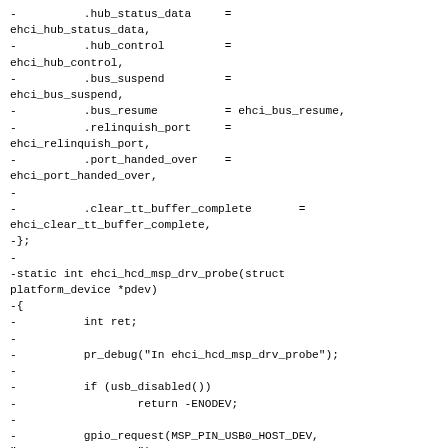-          .hub_status_data     =
ehci_hub_status_data,
-          .hub_control         =
ehci_hub_control,
-          .bus_suspend         =
ehci_bus_suspend,
-          .bus_resume          = ehci_bus_resume,
-          .relinquish_port     =
ehci_relinquish_port,
-          .port_handed_over    =
ehci_port_handed_over,
-
-          .clear_tt_buffer_complete       =
ehci_clear_tt_buffer_complete,
-};
-
-static int ehci_hcd_msp_drv_probe(struct
platform_device *pdev)
-{
-          int ret;
-
-          pr_debug("In ehci_hcd_msp_drv_probe");
-
-          if (usb_disabled())
-                  return -ENODEV;
-
-          gpio_request(MSP_PIN_USB0_HOST_DEV,
"USB0_HOST_DEV_GPIO");
-
-          ret =
usb_hcd_msp_probe(&ehci_msp_hc_driver, pdev);